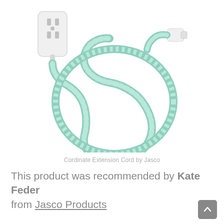[Figure (photo): A white extension cord power strip with two outlets on the left side, connected to a mint/teal green braided extension cord coiled in a circular loop. A white right-angle plug is visible at the top right end of the cord.]
Cordinate Extension Cord by Jasco
This product was recommended by Kate Feder from Jasco Products